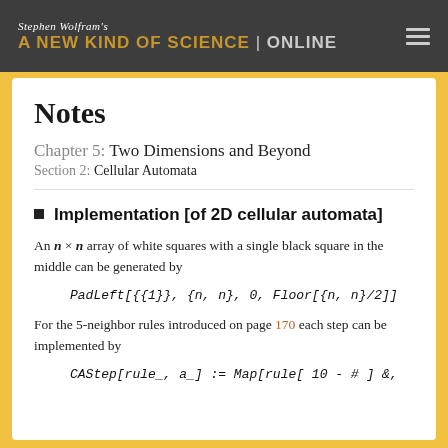Stephen Wolfram's A NEW KIND OF SCIENCE | ONLINE
Notes
Chapter 5: Two Dimensions and Beyond
Section 2: Cellular Automata
Implementation [of 2D cellular automata]
An n × n array of white squares with a single black square in the middle can be generated by
For the 5-neighbor rules introduced on page 170 each step can be implemented by